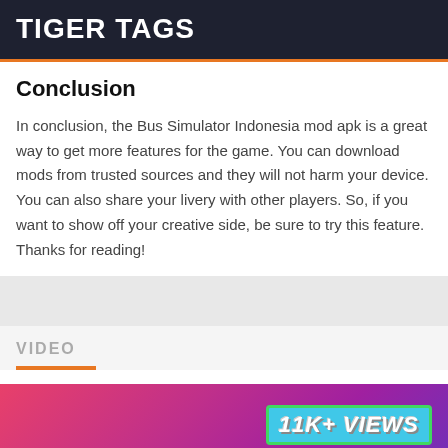TIGER TAGS
Conclusion
In conclusion, the Bus Simulator Indonesia mod apk is a great way to get more features for the game. You can download mods from trusted sources and they will not harm your device. You can also share your livery with other players. So, if you want to show off your creative side, be sure to try this feature. Thanks for reading!
VIDEO
[Figure (screenshot): Video thumbnail with pink/purple gradient background showing '11K+ VIEWS' badge with cyan border on green outline]